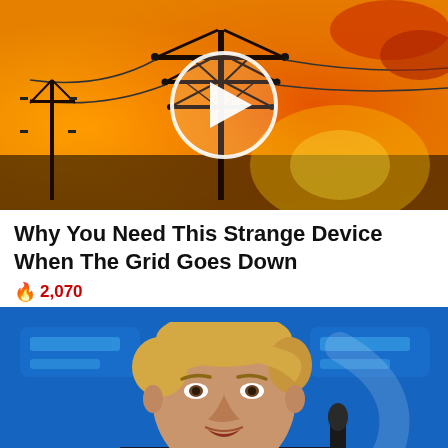[Figure (photo): Silhouette of electricity transmission tower/pylon against a dramatic orange and red sunset sky, with a white circular play button overlay indicating a video thumbnail]
Why You Need This Strange Device When The Grid Goes Down
🔥 2,070
[Figure (photo): Close-up photo of Donald Trump speaking at a podium with a microphone, against a bright blue background with blurred white text/logos]